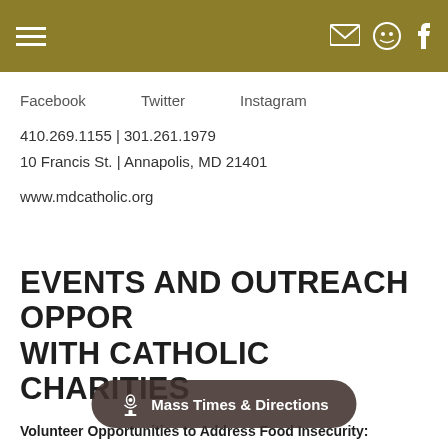Facebook   Twitter   Instagram
410.269.1155 | 301.261.1979
10 Francis St. | Annapolis, MD 21401
www.mdcatholic.org
EVENTS AND OUTREACH OPPORTUNITIES WITH CATHOLIC CHARITIES
Volunteer Opportunities to Address Food Insecurity:
Support our brothers and siste... of c... us for an experience that is fun... ar co... sign up for a shift that works for you on our website: